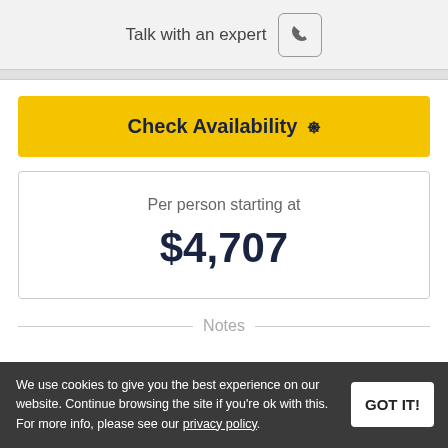Talk with an expert
Check Availability
Per person starting at $4,707
Notes
We use cookies to give you the best experience on our website. Continue browsing the site if you're ok with this. For more info, please see our privacy policy.